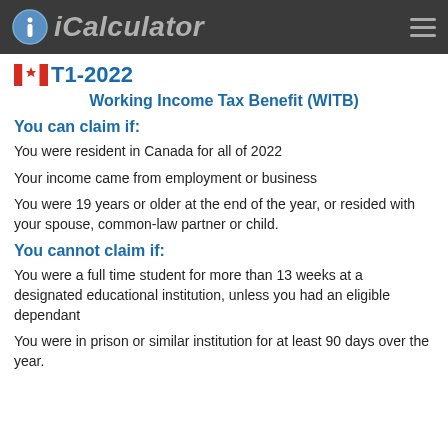iCalculator
T1-2022
Working Income Tax Benefit (WITB)
You can claim if:
You were resident in Canada for all of 2022
Your income came from employment or business
You were 19 years or older at the end of the year, or resided with your spouse, common-law partner or child.
You cannot claim if:
You were a full time student for more than 13 weeks at a designated educational institution, unless you had an eligible dependant
You were in prison or similar institution for at least 90 days over the year.